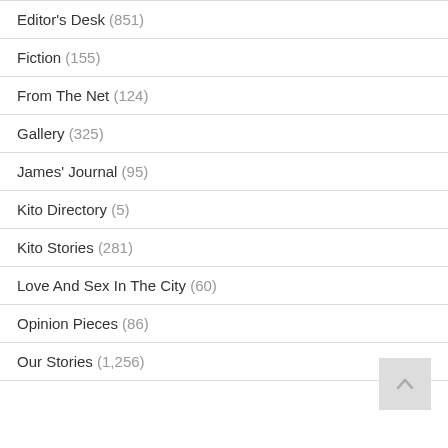Editor's Desk (851)
Fiction (155)
From The Net (124)
Gallery (325)
James' Journal (95)
Kito Directory (5)
Kito Stories (281)
Love And Sex In The City (60)
Opinion Pieces (86)
Our Stories (1,256)